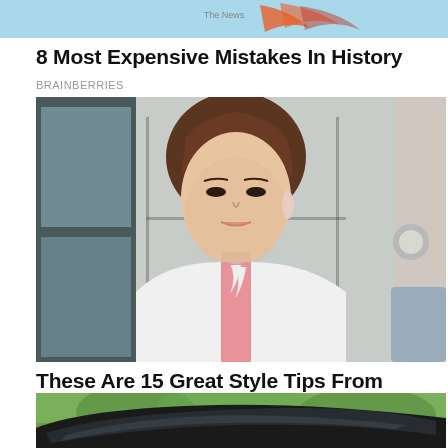[Figure (photo): Ad banner with light blue background and orange/red stylized graphic text]
8 Most Expensive Mistakes In History
BRAINBERRIES
[Figure (photo): Young Asian woman wearing white lace jacket over pink top, seated near large windows, looking at camera]
These Are 15 Great Style Tips From Asian Women
HERBEAUTY
[Figure (photo): Partial view of a black car roof and window with green trees in background]